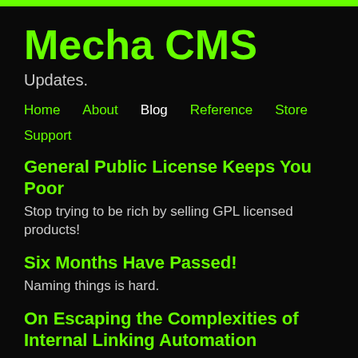Mecha CMS
Updates.
Home
About
Blog
Reference
Store
Support
General Public License Keeps You Poor
Stop trying to be rich by selling GPL licensed products!
Six Months Have Passed!
Naming things is hard.
On Escaping the Complexities of Internal Linking Automation